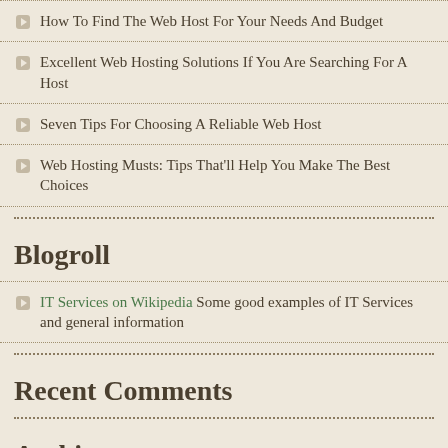How To Find The Web Host For Your Needs And Budget
Excellent Web Hosting Solutions If You Are Searching For A Host
Seven Tips For Choosing A Reliable Web Host
Web Hosting Musts: Tips That'll Help You Make The Best Choices
Blogroll
IT Services on Wikipedia Some good examples of IT Services and general information
Recent Comments
Archives